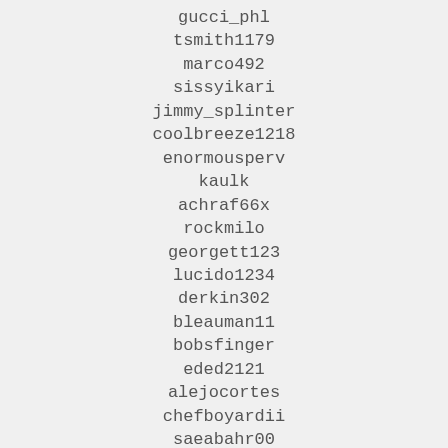gucci_phl
tsmith1179
marco492
sissyikari
jimmy_splinter
coolbreeze1218
enormousperv
kaulk
achraf66x
rockmilo
georgett123
lucido1234
derkin302
bleauman11
bobsfinger
eded2121
alejocortes
chefboyardii
saeabahr00
biadro
yorksa58
gearheadz71
road_to
deanelrose